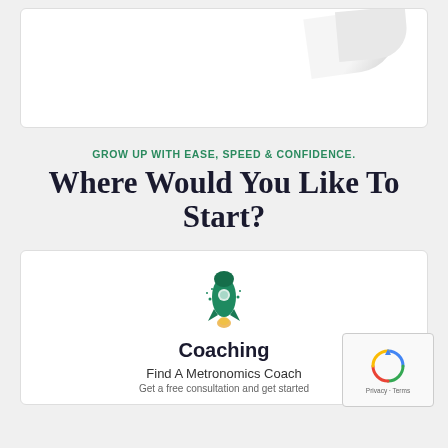[Figure (other): Top white card with partial image of a document/paper curling at the corner]
GROW UP WITH EASE, SPEED & CONFIDENCE.
Where Would You Like To Start?
[Figure (illustration): Rocket ship icon in dark teal/green color]
Coaching
Find A Metronomics Coach